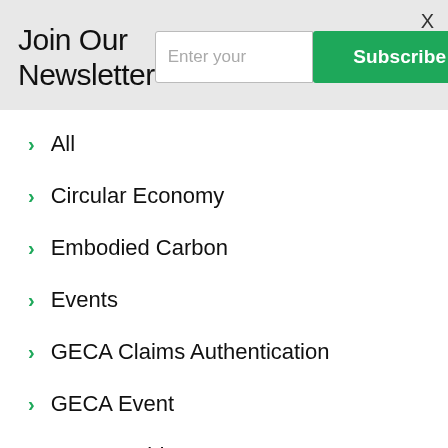Join Our Newsletter
Enter your
Subscribe
All
Circular Economy
Embodied Carbon
Events
GECA Claims Authentication
GECA Event
GECA Guide